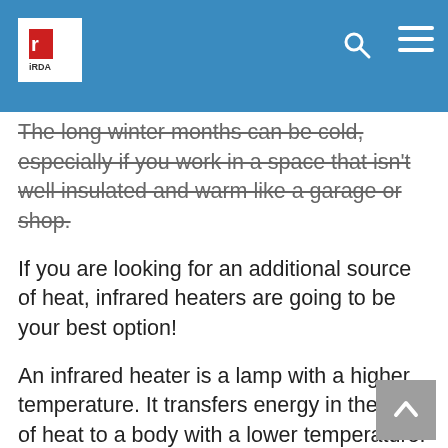iRDA website header with logo, search icon, and hamburger menu
The long winter months can be cold, especially if you work in a space that isn't well insulated and warm like a garage or shop.
If you are looking for an additional source of heat, infrared heaters are going to be your best option!
An infrared heater is a lamp with a higher temperature. It transfers energy in the form of heat to a body with a lower temperature.